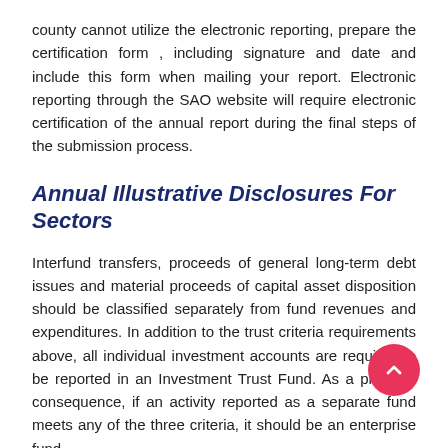county cannot utilize the electronic reporting, prepare the certification form , including signature and date and include this form when mailing your report. Electronic reporting through the SAO website will require electronic certification of the annual report during the final steps of the submission process.
Annual Illustrative Disclosures For Sectors
Interfund transfers, proceeds of general long-term debt issues and material proceeds of capital asset disposition should be classified separately from fund revenues and expenditures. In addition to the trust criteria requirements above, all individual investment accounts are required to be reported in an Investment Trust Fund. As a practical consequence, if an activity reported as a separate fund meets any of the three criteria, it should be an enterprise fund.
We use the proportion of each interim period's actual unit